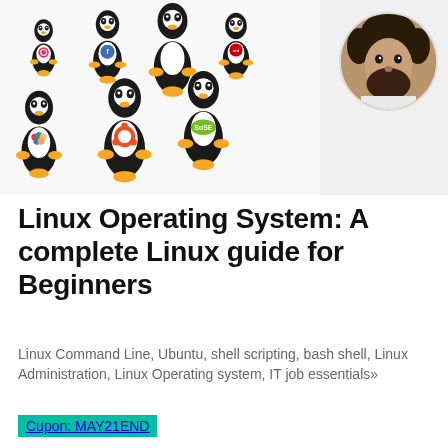[Figure (illustration): Multiple Linux penguin (Tux) mascots with different Linux distribution logos (Fedora, Debian, Ubuntu, SUSE, Red Hat, etc.) arranged in a group on a white/light background, with a circular profile photo of a bearded man in the top right corner.]
Linux Operating System: A complete Linux guide for Beginners
Linux Command Line, Ubuntu, shell scripting, bash shell, Linux Administration, Linux Operating system, IT job essentials»
Cupon: MAY21END